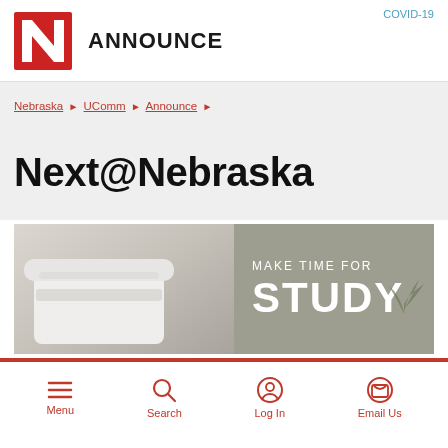COVID-19
[Figure (logo): University of Nebraska red N logo with ANNOUNCE text]
Nebraska › UComm › Announce ›
Next@Nebraska
[Figure (photo): Banner image showing a white coffee cup on left and gray background on right with text MAKE TIME FOR STUDY]
Menu  Search  Log In  Email Us